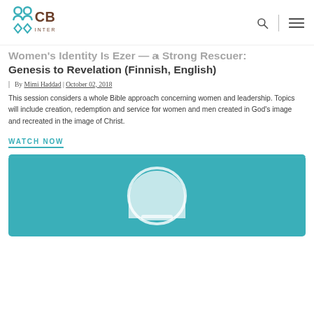CBE International
Women's Identity Is Ezer — a Strong Rescuer: Genesis to Revelation (Finnish, English)
By Mimi Haddad | October 02, 2018
This session considers a whole Bible approach concerning women and leadership. Topics will include creation, redemption and service for women and men created in God's image and recreated in the image of Christ.
WATCH NOW
[Figure (illustration): Teal/turquoise colored video thumbnail with a white circular play button icon on teal background]